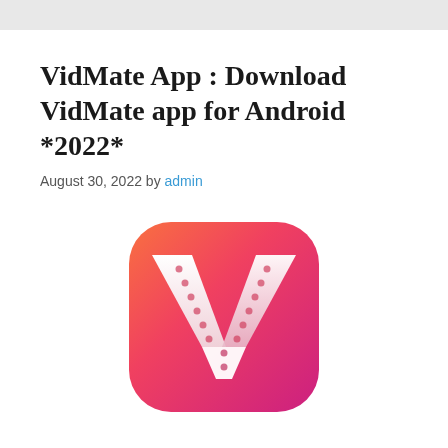VidMate App : Download VidMate app for Android *2022*
August 30, 2022 by admin
[Figure (logo): VidMate app logo: rounded square icon with gradient background from orange-red at top to pink-magenta at bottom, featuring a large white 'V' shape with film strip perforations in the center]